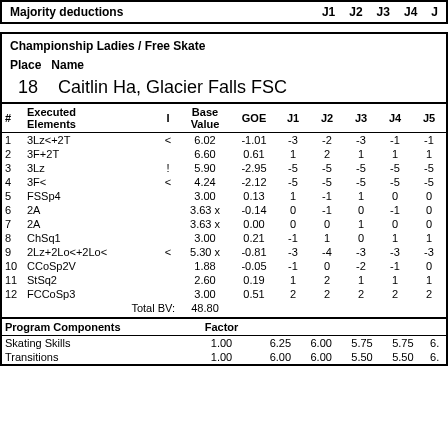Majority deductions   J1   J2   J3   J4   J
Championship Ladies / Free Skate
Place  Name
18   Caitlin Ha, Glacier Falls FSC
| # | Executed Elements | I | Base Value | GOE | J1 | J2 | J3 | J4 | J5 |
| --- | --- | --- | --- | --- | --- | --- | --- | --- | --- |
| 1 | 3Lz<+2T | < | 6.02 | -1.01 | -3 | -2 | -3 | -1 | -1 |
| 2 | 3F+2T |  | 6.60 | 0.61 | 1 | 2 | 1 | 1 | 1 |
| 3 | 3Lz | ! | 5.90 | -2.95 | -5 | -5 | -5 | -5 | -5 |
| 4 | 3F< | < | 4.24 | -2.12 | -5 | -5 | -5 | -5 | -5 |
| 5 | FSSp4 |  | 3.00 | 0.13 | 1 | -1 | 1 | 0 | 0 |
| 6 | 2A |  | 3.63 x | -0.14 | 0 | -1 | 0 | -1 | 0 |
| 7 | 2A |  | 3.63 x | 0.00 | 0 | 0 | 1 | 0 | 0 |
| 8 | ChSq1 |  | 3.00 | 0.21 | -1 | 1 | 0 | 1 | 1 |
| 9 | 2Lz+2Lo<+2Lo< | < | 5.30 x | -0.81 | -3 | -4 | -3 | -3 | -3 |
| 10 | CCoSp2V |  | 1.88 | -0.05 | -1 | 0 | -2 | -1 | 0 |
| 11 | StSq2 |  | 2.60 | 0.19 | 1 | 2 | 1 | 1 | 1 |
| 12 | FCCoSp3 |  | 3.00 | 0.51 | 2 | 2 | 2 | 2 | 2 |
|  |  | Total BV: | 48.80 |  |  |  |  |  |  |
| Program Components |  | Factor | J1 | J2 | J3 | J4 | J5 |
| --- | --- | --- | --- | --- | --- | --- | --- |
| Skating Skills |  | 1.00 | 6.25 | 6.00 | 5.75 | 5.75 | 6. |
| Transitions |  | 1.00 | 6.00 | 6.00 | 5.50 | 5.50 | 6. |